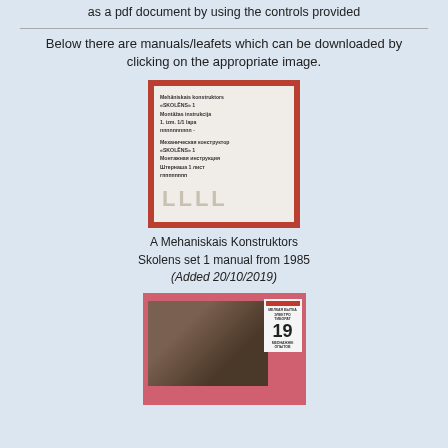as a pdf document by using the controls provided
Below there are manuals/leafets which can be downloaded by clicking on the appropriate image.
[Figure (photo): A photograph of a booklet/manual with a red border, showing Cyrillic text on white pages inside the red cover.]
A Mehaniskais Konstruktors Skolens set 1 manual from 1985 (Added 20/10/2019)
[Figure (photo): A photograph of a pink/red booklet cover showing a child playing with a construction set, with the number 19 visible and Cyrillic text.]